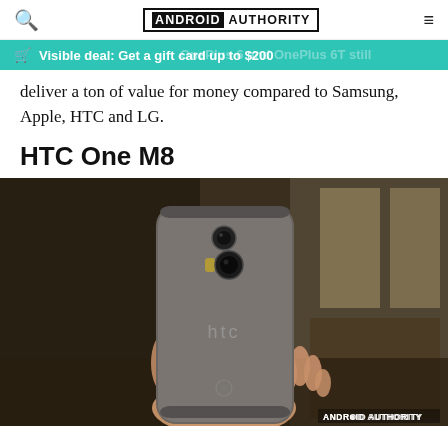ANDROID AUTHORITY
Visible deal: Get a gift card up to $200
deliver a ton of value for money compared to Samsung, Apple, HTC and LG.
HTC One M8
[Figure (photo): Hand holding the back of an HTC One M8 smartphone in gunmetal/grey color, showing the dual camera, HTC logo, and AT&T logo. The background is a blurred indoor scene with wooden elements and windows.]